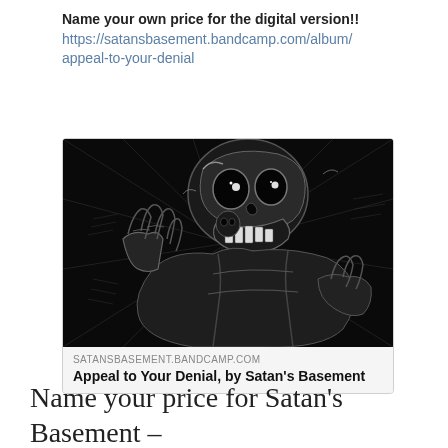Name your own price for the digital version!! https://satansbasement.bandcamp.com/album/appeal-to-your-denial
[Figure (illustration): Black and white illustration of a skeletal/zombie figure with a skull face, making hand gestures, in a dark comic/metal art style. Bandcamp album card preview for 'Appeal to Your Denial' by Satan's Basement.]
SATANSBASEMENT.BANDCAMP.COM
Appeal to Your Denial, by Satan's Basement
Name your price for Satan's Basement – Appeal to Your Denial digital download on